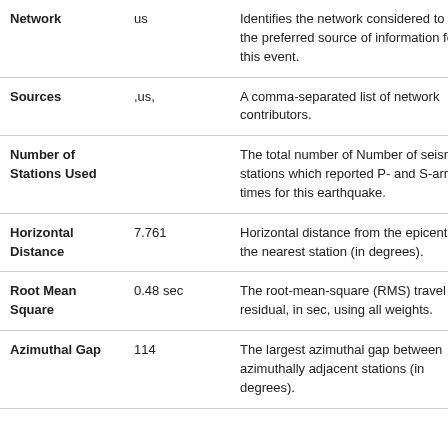| Field | Value | Description |
| --- | --- | --- |
| Network | us | Identifies the network considered to be the preferred source of information for this event. |
| Sources | ,us, | A comma-separated list of network contributors. |
| Number of Stations Used |  | The total number of Number of seismic stations which reported P- and S-arrival times for this earthquake. |
| Horizontal Distance | 7.761 | Horizontal distance from the epicenter to the nearest station (in degrees). |
| Root Mean Square | 0.48 sec | The root-mean-square (RMS) travel time residual, in sec, using all weights. |
| Azimuthal Gap | 114 | The largest azimuthal gap between azimuthally adjacent stations (in degrees). |